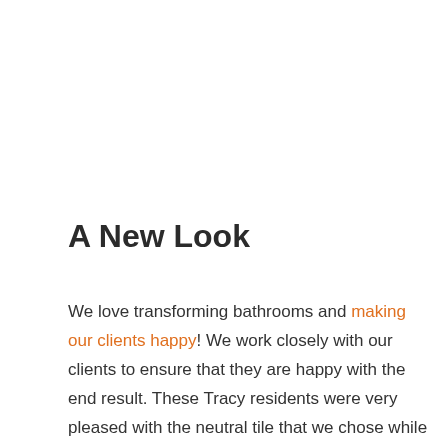A New Look
We love transforming bathrooms and making our clients happy! We work closely with our clients to ensure that they are happy with the end result. These Tracy residents were very pleased with the neutral tile that we chose while we worked in tile accents from other parts of their home. This new shower was exactly what this bathroom was missing. Not only did this shower remodel add to the